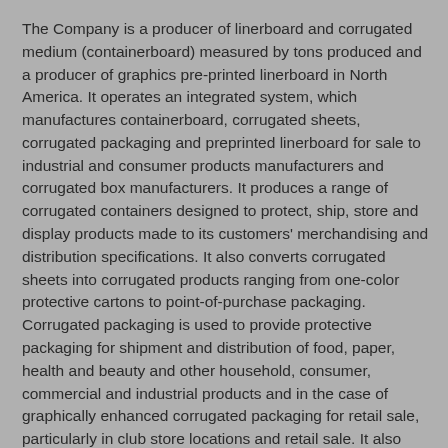The Company is a producer of linerboard and corrugated medium (containerboard) measured by tons produced and a producer of graphics pre-printed linerboard in North America. It operates an integrated system, which manufactures containerboard, corrugated sheets, corrugated packaging and preprinted linerboard for sale to industrial and consumer products manufacturers and corrugated box manufacturers. It produces a range of corrugated containers designed to protect, ship, store and display products made to its customers' merchandising and distribution specifications. It also converts corrugated sheets into corrugated products ranging from one-color protective cartons to point-of-purchase packaging. Corrugated packaging is used to provide protective packaging for shipment and distribution of food, paper, health and beauty and other household, consumer, commercial and industrial products and in the case of graphically enhanced corrugated packaging for retail sale, particularly in club store locations and retail sale. It also provides structural and graphic design, engineering services, and custom and standard automated packaging machines, offering customers turn-key instal! lation, automation, line